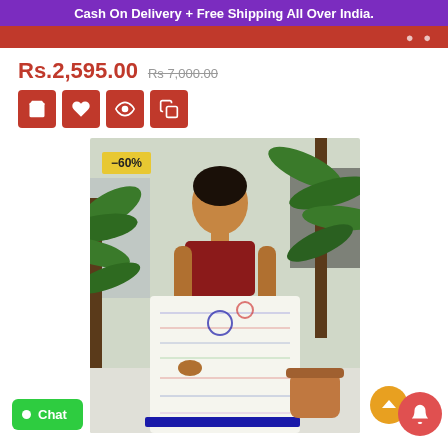Cash On Delivery + Free Shipping All Over India.
Rs.2,595.00  Rs.7,000.00
[Figure (photo): Woman wearing a white saree with multicolor text prints and blue border, with red blouse, standing near potted palm plants outdoors. A -60% discount badge is shown on the image.]
Chat